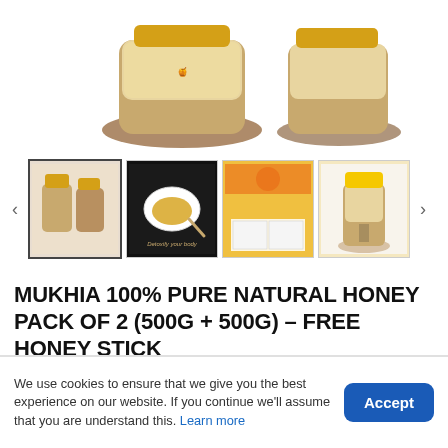[Figure (photo): Product photo showing two jars of Mukhia 100% Pure Natural Honey, partially cropped at top]
[Figure (photo): Thumbnail strip with 4 product images: two honey jars, black card with honey bowl, product label/nutrition info sheet, single honey jar with yellow lid. Navigation arrows on left and right.]
MUKHIA 100% PURE NATURAL HONEY PACK OF 2 (500G + 500G) – FREE HONEY STICK
We use cookies to ensure that we give you the best experience on our website. If you continue we'll assume that you are understand this. Learn more